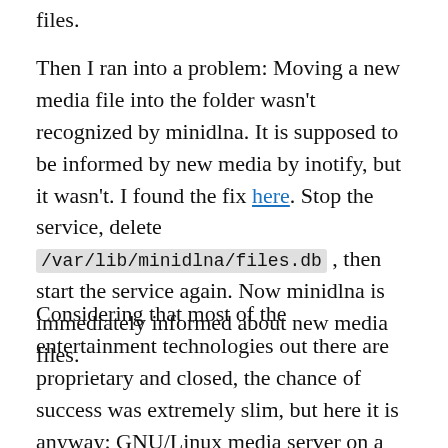files.
Then I ran into a problem: Moving a new media file into the folder wasn't recognized by minidlna. It is supposed to be informed by new media by inotify, but it wasn't. I found the fix here. Stop the service, delete /var/lib/minidlna/files.db , then start the service again. Now minidlna is immediately informed about new media files.
Considering that most of the entertainment technologies out there are proprietary and closed, the chance of success was extremely slim, but here it is anyway: GNU/Linux media server on a mainstream TV!